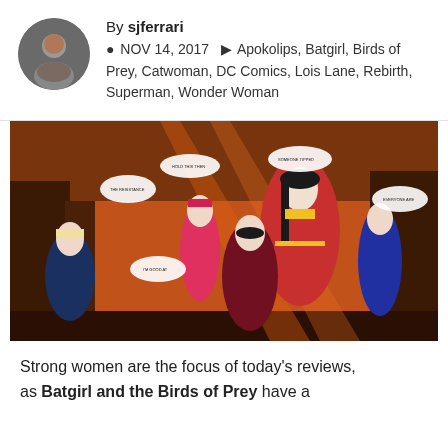By sjferrari
NOV 14, 2017   Apokolips, Batgirl, Birds of Prey, Catwoman, DC Comics, Lois Lane, Rebirth, Superman, Wonder Woman
[Figure (illustration): Comic book panel showing a group of female superheroes including Wonder Woman, Harley Quinn, Batgirl, Black Canary, and others, set against an orange dramatic background with speech bubbles.]
Strong women are the focus of today's reviews, as Batgirl and the Birds of Prey have a